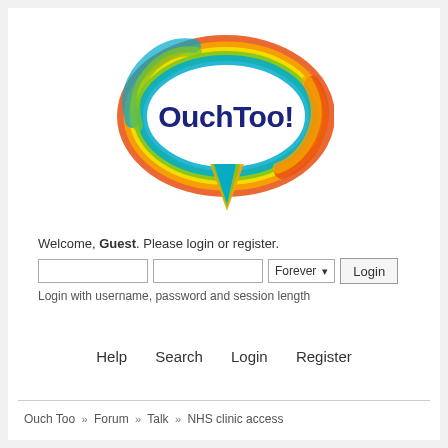[Figure (logo): OuchToo! speech bubble logo with rainbow-colored swirl border (green, cyan, yellow, orange, red) around a white oval containing dark blue text 'OuchToo!' with cyan tail pointing down]
Welcome, Guest. Please login or register.
Login with username, password and session length
Help   Search   Login   Register
Ouch Too » Forum » Talk » NHS clinic access